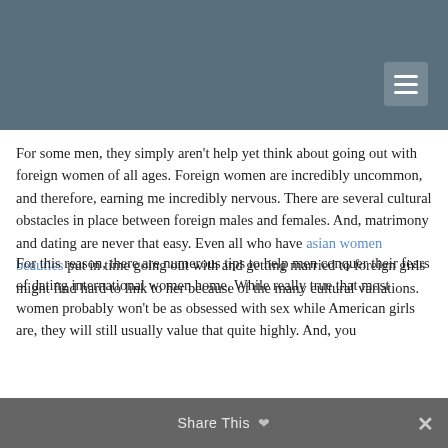For some men, they simply aren't help yet think about going out with foreign women of all ages. Foreign women are incredibly uncommon, and therefore, earning me incredibly nervous. There are several cultural obstacles in place between foreign males and females. And, matrimony and dating are never that easy. Even all who have asian women beauties put in time going out with and getting married to foreign girls might find hard to link to her because of the many cultural variations.
For this reason, there are numerous tips to help men conquer their fears of dating international women home. While really true that most women probably won't be as obsessed with sex while American girls are, they will still usually value that quite highly. And, you
Share This